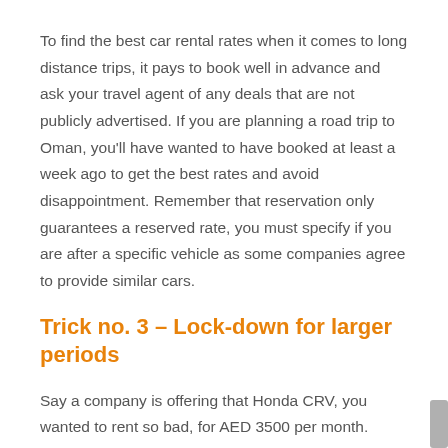To find the best car rental rates when it comes to long distance trips, it pays to book well in advance and ask your travel agent of any deals that are not publicly advertised. If you are planning a road trip to Oman, you'll have wanted to have booked at least a week ago to get the best rates and avoid disappointment. Remember that reservation only guarantees a reserved rate, you must specify if you are after a specific vehicle as some companies agree to provide similar cars.
Trick no. 3 – Lock-down for larger periods
Say a company is offering that Honda CRV, you wanted to rent so bad, for AED 3500 per month.
Rent for a recurring 3 months and ask for a discount. The company will most probably slash a few hundreds from...